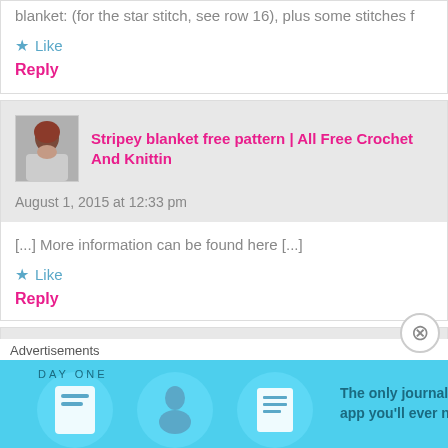blanket: (for the star stitch, see row 16), plus some stitches f…
★ Like
Reply
[Figure (photo): Avatar photo of a person with reddish hair]
Stripey blanket free pattern | All Free Crochet And Knittin…
August 1, 2015 at 12:33 pm
[...] More information can be found here [...]
★ Like
Reply
Happy Go Lucky Striped Blanket Throw | lspmjs's Blog says:
September 26, 2015 at 11:05 am
Advertisements
[Figure (screenshot): Day One journaling app advertisement banner with cyan background showing app icons and text 'The only journaling app you'll ever need.']